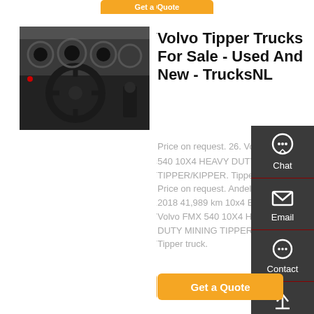[Figure (photo): Partial orange 'Get a Quote' button at top, partially cropped]
[Figure (photo): Interior cab photo of a Volvo truck showing steering wheel and dashboard]
Volvo Tipper Trucks For Sale - Used And New - TrucksNL
Price on request. 26. Volvo FMX 540 10X4 HEAVY DUTY MINING TIPPER/KIPPER. Tipper truck. Price on request. Andelst, NL 2018 41,989 km 10x4 Euro 6. Volvo FMX 540 10X4 HEAVY DUTY MINING TIPPER/KIPPER. Tipper truck.
[Figure (other): Right sidebar with Chat, Email, Contact, and Top navigation icons on dark background]
[Figure (other): Orange 'Get a Quote' button at bottom]